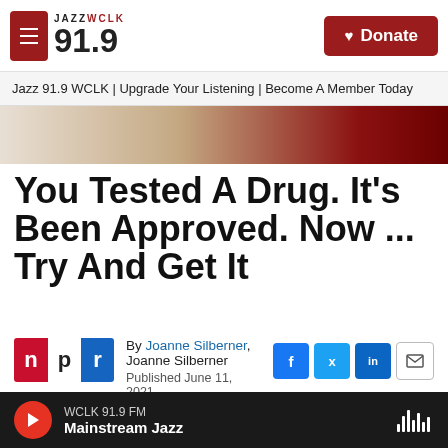JAZZ WCLK 91.9 | Donate
Jazz 91.9 WCLK | Upgrade Your Listening | Become A Member Today
You Tested A Drug. It's Been Approved. Now ... Try And Get It
By Joanne Silberner, Joanne Silberner
Published June 11, 2021 at 8:41 AM EDT
WCLK 91.9 FM
Mainstream Jazz